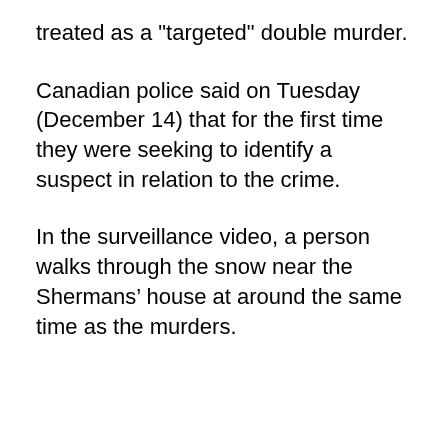treated as a "targeted" double murder.
Canadian police said on Tuesday (December 14) that for the first time they were seeking to identify a suspect in relation to the crime.
In the surveillance video, a person walks through the snow near the Shermans’ house at around the same time as the murders.